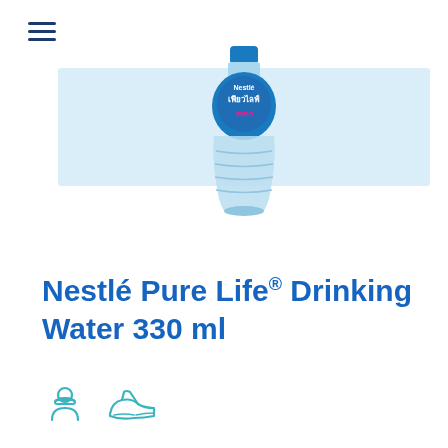[Figure (logo): Hamburger menu icon (three horizontal lines) in dark navy blue]
[Figure (photo): Nestlé Pure Life water bottle 330ml with Thai text label on light blue banner background. The bottle is transparent/light blue plastic with a blue cap. The label features Nestlé logo and Thai script in white and pink text.]
Nestlé Pure Life® Drinking Water 330 ml
[Figure (illustration): Two small icons: a construction worker / person with hard hat icon and a shoe/sneaker icon, both in teal/cyan outline style]